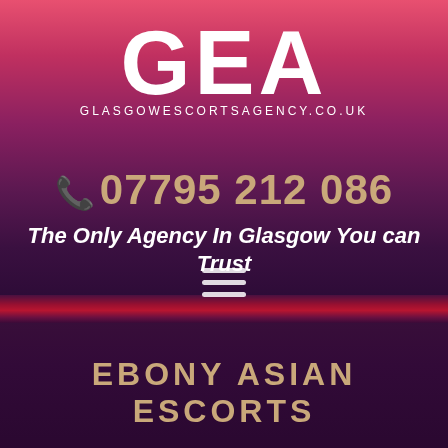[Figure (logo): GEA logo with large white letters GEA and subtitle GLASGOWESCORTSAGENCY.CO.UK]
07795 212 086
The Only Agency In Glasgow You can Trust
[Figure (other): Hamburger menu icon with three horizontal white lines]
EBONY ASIAN ESCORTS